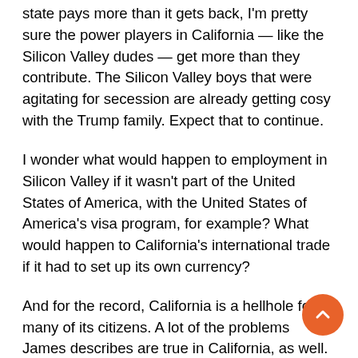state pays more than it gets back, I'm pretty sure the power players in California — like the Silicon Valley dudes — get more than they contribute. The Silicon Valley boys that were agitating for secession are already getting cosy with the Trump family. Expect that to continue.
I wonder what would happen to employment in Silicon Valley if it wasn't part of the United States of America, with the United States of America's visa program, for example? What would happen to California's international trade if it had to set up its own currency?
And for the record, California is a hellhole for many of its citizens. A lot of the problems James describes are true in California, as well. Just because a lot of fools marched to the polls for Hillary Clinton does not mean they are happy with neoliberalism or happy in general. Los Angeles and San Francisco both have exploding crises with homelessness and housing unaffordability; we have the best up for ACA utilization, but it is still failing here in many ways; our transportation is bad and